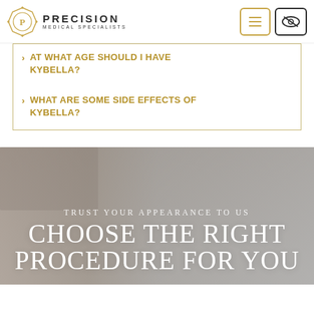Precision Medical Specialists
AT WHAT AGE SHOULD I HAVE KYBELLA?
WHAT ARE SOME SIDE EFFECTS OF KYBELLA?
TRUST YOUR APPEARANCE TO US
CHOOSE THE RIGHT PROCEDURE FOR YOU